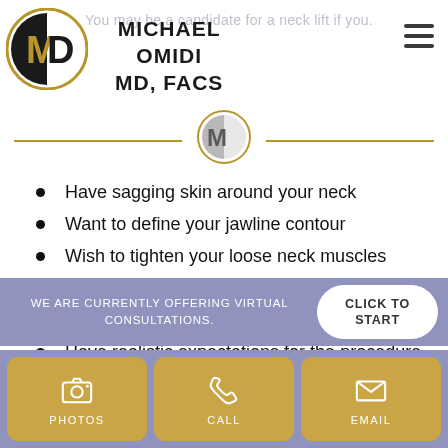[Figure (logo): Michael Omidi MD FACS logo with circular M/D emblem in black and gold]
MICHAEL OMIDI
MD, FACS
You may be a candidate for a neck lift if you.
Have sagging skin around your neck
Want to define your jawline contour
Wish to tighten your loose neck muscles
Need to treat a double chin
Seek a rejuvenated appearance
Have realistic expectations for the procedure
WE ARE CURRENTLY OFFERING VIRTUAL CONSULTATIONS.
CLICK TO START
PHOTOS
CALL
EMAIL